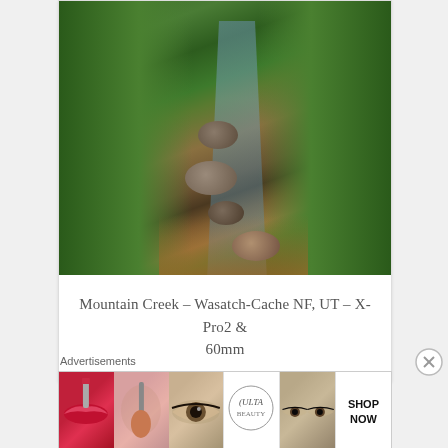[Figure (photo): Photo of a mountain creek flowing through rocks and lush green vegetation, Wasatch-Cache National Forest, Utah]
Mountain Creek – Wasatch-Cache NF, UT – X-Pro2 & 60mm
Advertisements
[Figure (photo): Advertisement banner showing beauty/makeup products including lips with red lipstick, makeup brush, eye with makeup, Ulta Beauty logo, eyes with dramatic eye makeup, and SHOP NOW text]